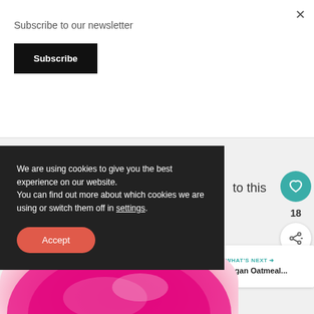Subscribe to our newsletter
Subscribe
×
We are using cookies to give you the best experience on our website.
You can find out more about which cookies we are using or switch them off in settings.
Accept
to this
18
WHAT'S NEXT →
Vegan Oatmeal...
[Figure (photo): Pink smoothie bowl or similar pink food in a silver bowl, viewed from above, partially visible at bottom of page]